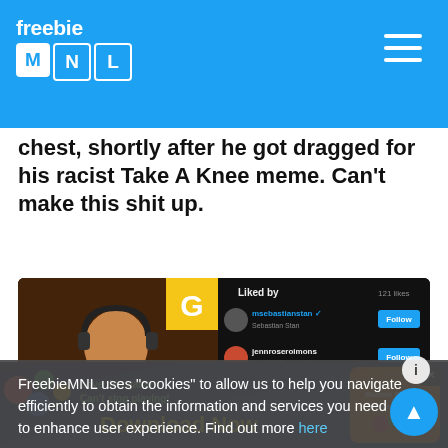freebie MNL
chest, shortly after he got dragged for his racist Take A Knee meme. Can't make this shit up.
[Figure (screenshot): Screenshot of a Twitter/Instagram post showing a man with headphones at a microphone on the left, and a 'Liked by' list on the right showing users msebastianstan (Sebastian Stan), jenniferrosimmons (Jennifer Rosario Simone), sabinedeep, and others with Follow buttons. Timestamp shows 8:31 PM · May 26, 2021. A phone keyboard is visible at the bottom.]
FreebieMNL uses “cookies” to allow us to help you navigate efficiently to obtain the information and services you need and to enhance user experience. Find out more here
Okay
[Figure (photo): Advertisement banner with colorful game graphics, text 'Love this game Can't stop playing!', 'Download Now', and 'Bubble Shooter Animal World']